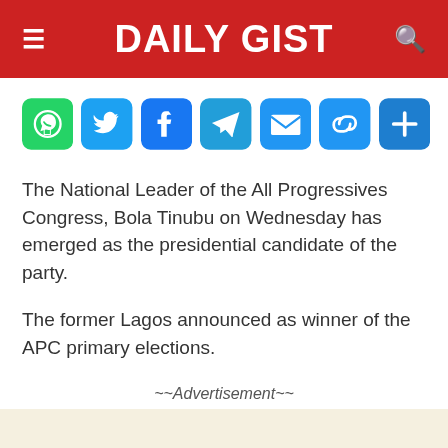DAILY GIST
[Figure (infographic): Row of 7 social sharing icon buttons: WhatsApp (green), Twitter (blue), Facebook (blue), Telegram (teal), Email (blue), Link/copy (blue), More/plus (blue)]
The National Leader of the All Progressives Congress, Bola Tinubu on Wednesday has emerged as the presidential candidate of the party.
The former Lagos announced as winner of the APC primary elections.
~~Advertisement~~